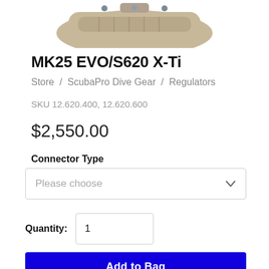[Figure (photo): Product photo of MK25 EVO/S620 X-Ti scuba regulator, metallic silver/tan colored device shown from above, partially cropped at the top of the page.]
MK25 EVO/S620 X-Ti
Store / ScubaPro Dive Gear / Regulators
SKU 12.620.400, 12.620.600
$2,550.00
Connector Type
Please choose
Quantity: 1
Add to Bag